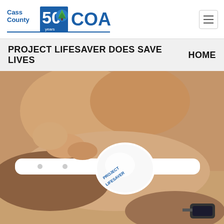Cass County 50 years COA
PROJECT LIFESAVER DOES SAVE LIVES    HOME
[Figure (photo): Close-up photo of hands fastening a white Project Lifesaver wristband onto an elderly person's wrist. The white circular device on the wristband reads 'PROJECT LIFESAVER'.]